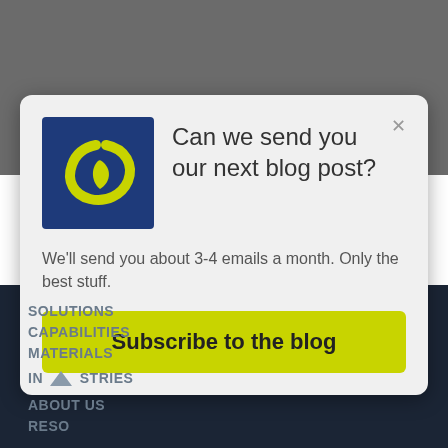[Figure (screenshot): Website screenshot showing a subscription popup modal over a dark navigation background. The modal has a blue logo with yellow leaf/swirl design, a title asking to send blog posts, body text about email frequency, and a yellow subscribe button. Below the modal is a dark navy navigation menu showing SOLUTIONS, CAPABILITIES, MATERIALS, INDUSTRIES, ABOUT US, RESOURCES (partially visible).]
Can we send you our next blog post?
We'll send you about 3-4 emails a month. Only the best stuff.
Subscribe to the blog
SOLUTIONS
CAPABILITIES
MATERIALS
INDUSTRIES
ABOUT US
RESOURCES